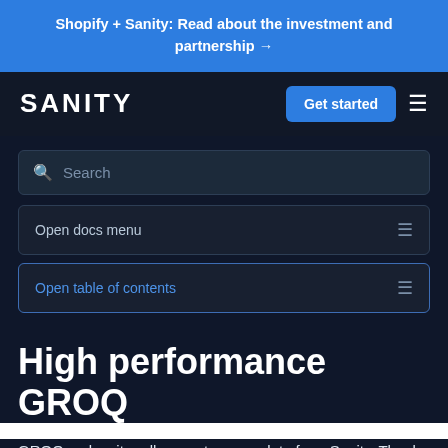Shopify + Sanity: Read about the investment and partnership →
[Figure (screenshot): Sanity logo and navigation bar with Get started button and hamburger menu on dark background]
[Figure (screenshot): Search bar with magnifying glass icon and placeholder text 'Search']
[Figure (screenshot): Open docs menu button with hamburger icon]
[Figure (screenshot): Open table of contents button with hamburger icon, highlighted in blue border]
High performance GROQ
GROQ makes it really easy to query data from Sanity. Thanks to Sanity's super fast CDN, it's possible to